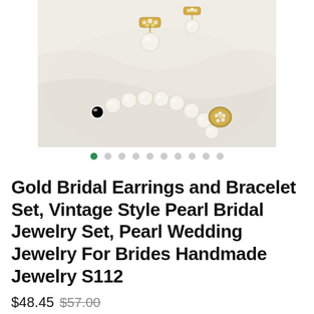[Figure (photo): Pearl bracelet and gold earrings with crystal/rhinestone accents on white fabric background. The bracelet has a decorative gold clasp with white flower and crystal details. A pair of gold drop earrings with pearl and crystal embellishments is visible.]
Gold Bridal Earrings and Bracelet Set, Vintage Style Pearl Bridal Jewelry Set, Pearl Wedding Jewelry For Brides Handmade Jewelry S112
$48.45 $57.00